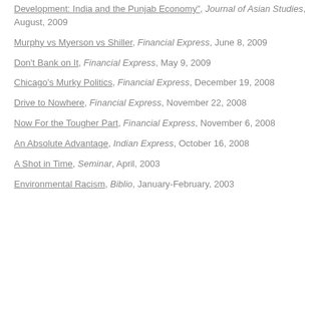Development: India and the Punjab Economy", Journal of Asian Studies, August, 2009
Murphy vs Myerson vs Shiller, Financial Express, June 8, 2009
Don't Bank on It, Financial Express, May 9, 2009
Chicago's Murky Politics, Financial Express, December 19, 2008
Drive to Nowhere, Financial Express, November 22, 2008
Now For the Tougher Part, Financial Express, November 6, 2008
An Absolute Advantage, Indian Express, October 16, 2008
A Shot in Time, Seminar, April, 2003
Environmental Racism, Biblio, January-February, 2003